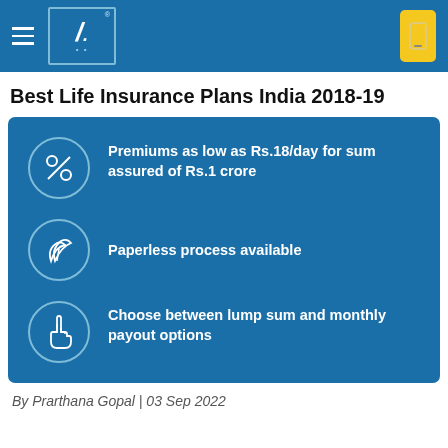Best Life Insurance Plans India 2018-19 (site header with logo and hamburger menu)
Best Life Insurance Plans India 2018-19
[Figure (infographic): Blue rounded rectangle infographic with three feature rows, each with a circular icon and bold white text: 1) Percent icon: 'Premiums as low as Rs.18/day for sum assured of Rs.1 crore', 2) Leaf icon: 'Paperless process available', 3) Hand/pointer icon: 'Choose between lump sum and monthly payout options']
By Prarthana Gopal | 03 Sep 2022